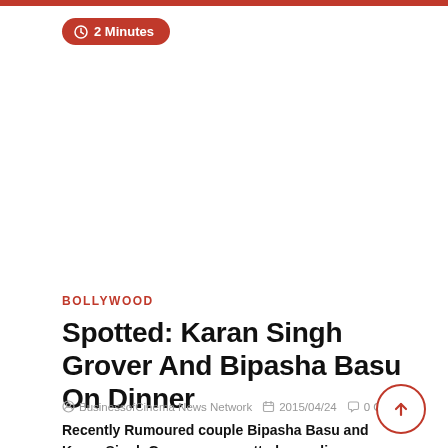2 Minutes
BOLLYWOOD
Spotted: Karan Singh Grover And Bipasha Basu On Dinner
BusinessofCinema News Network  2015/04/24  0 Comment
Recently Rumoured couple Bipasha Basu and Karan Singh Grover was spotted on a dinner night out with friends. …